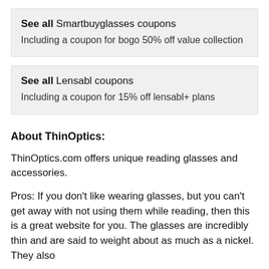See all Smartbuyglasses coupons
Including a coupon for bogo 50% off value collection
See all Lensabl coupons
Including a coupon for 15% off lensabl+ plans
About ThinOptics:
ThinOptics.com offers unique reading glasses and accessories.
Pros: If you don't like wearing glasses, but you can't get away with not using them while reading, then this is a great website for you. The glasses are incredibly thin and are said to weight about as much as a nickel. They also